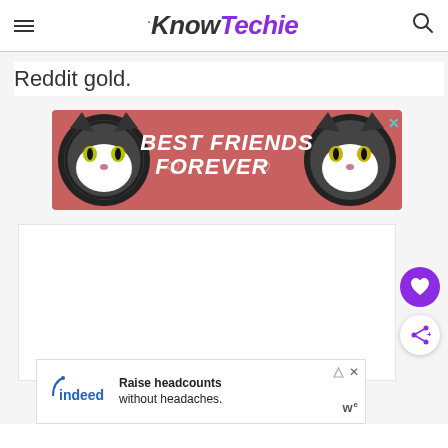KnowTechie
Reddit gold.
[Figure (illustration): Best Friends Forever advertisement banner with two tuxedo cats and pink background]
[Figure (illustration): Indeed advertisement: Raise headcounts without headaches.]